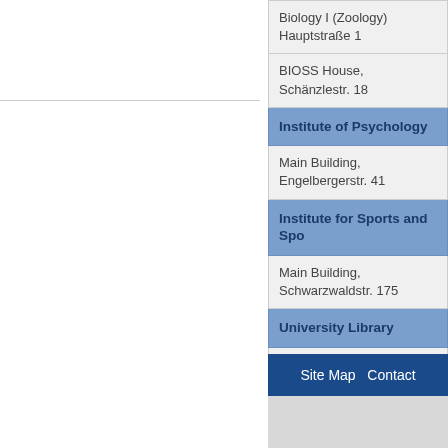| Biology I (Zoology)
Hauptstraße 1 |
| BIOSS House,
Schänzlestr. 18 |
| Institute of Psychology |
| Main Building,
Engelbergerstr. 41 |
| Institute for Sports and Spo... |
| Main Building,
Schwarzwaldstr. 175 |
| University Library |
| UB 1 (in Stadthalle on
 Alter Messplatz) |
Site Map   Contact